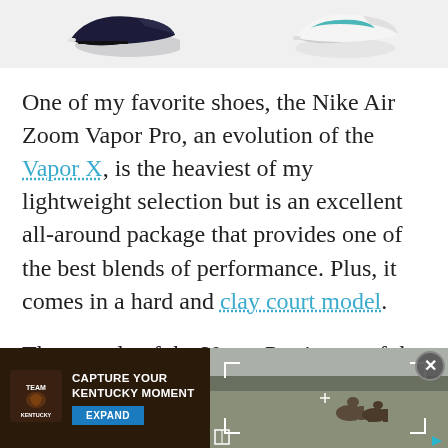[Figure (photo): Partial view of two Nike shoes at the top of the page — a dark navy/black shoe on the left and a white/teal shoe on the right, both cropped at bottom of image area]
One of my favorite shoes, the Nike Air Zoom Vapor Pro, an evolution of the Vapor X, is the heaviest of my lightweight selection but is an excellent all-around package that provides one of the best blends of performance. Plus, it comes in a hard and clay court model.
The outsole of the Vapor Pro is one of the unique areas where the shoe cuts down
[Figure (screenshot): Advertisement banner at the bottom: left side shows Team Kentucky tourism ad with dark brown background, 'CAPTURE YOUR KENTUCKY MOMENT' text in white bold, and a blue EXPAND button; right side shows a video thumbnail of horses in a misty field with camera frame overlay, close button, and play arrow]